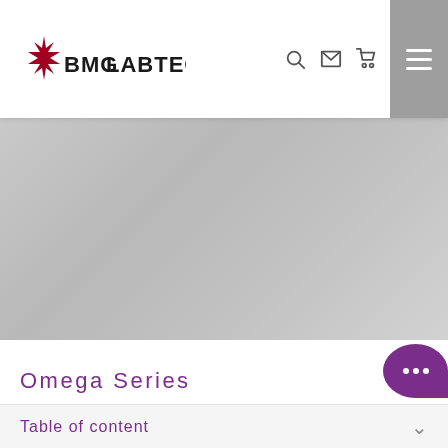BMG LABTECH
[Figure (photo): Gray placeholder hero image area for product photo]
Omega Series
Upgradeable single and multi-mode microplate reader series
Table of content